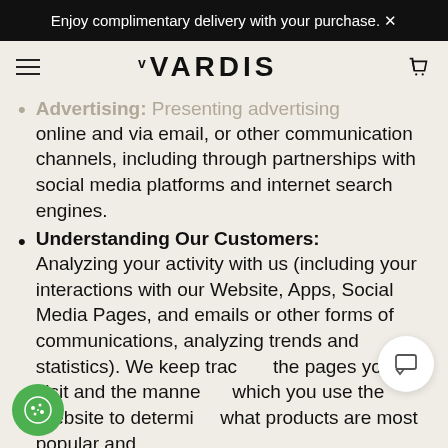Enjoy complimentary delivery with your purchase.
[Figure (logo): VVARDIS brand logo in bold black lettering with a superscript v]
Advertising: Presenting advertising online and via email, or other communication channels, including through partnerships with social media platforms and internet search engines.
Understanding Our Customers: Analyzing your activity with us (including your interactions with our Website, Apps, Social Media Pages, and emails or other forms of communications, analyzing trends and statistics). We keep track of the pages you visit and the manner in which you use the Website to determine what products are most popular and